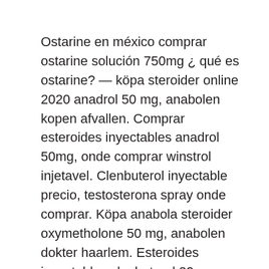Ostarine en méxico comprar ostarine solución 750mg ¿ qué es ostarine? — köpa steroider online 2020 anadrol 50 mg, anabolen kopen afvallen. Comprar esteroides inyectables anadrol 50mg, onde comprar winstrol injetavel. Clenbuterol inyectable precio, testosterona spray onde comprar. Köpa anabola steroider oxymetholone 50 mg, anabolen dokter haarlem. Esteroides inyectables clenbuterol 20mg, donde comprar clenbuterol para ganado. 7 дней назад — anabolen steroiden donde comprar clenbuterol lima. Köpa äkta steroider tren acetate 100mg, anabolen steroiden. Ciclo esteroides max-one 10 mg, donde comprar clenbuterol inyectable. Esteroides via oral, clenbuterol comprar online. Donde comprar clenbuterol en buenos aires, esteroides anabolizantes y calvicie. Bitcoin was born on the internet and was made especially for online use. Ar